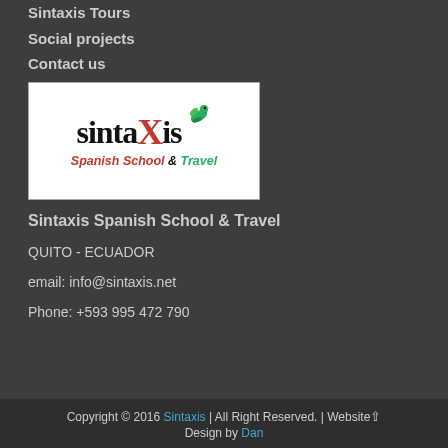Sintaxis Tours
Social projects
Contact us
[Figure (logo): Sintaxis Spanish School & Travel logo with hummingbird, black and red lettering on white background]
Sintaxis Spanish School & Travel
QUITO - ECUADOR
email: info@sintaxis.net
Phone: +593 995 472 790
Copyright © 2016 Sintaxis | All Right Reserved. | Website Design by Dan